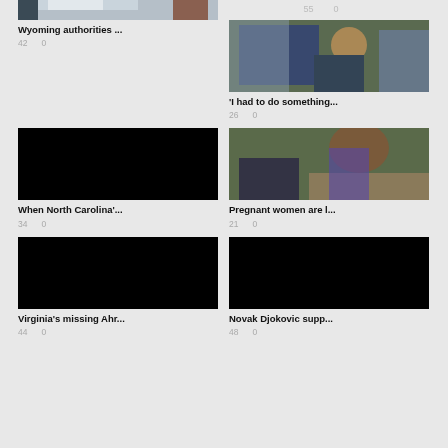26    0    55    0
[Figure (photo): Interior room with a desk and person crouching, security camera view]
[Figure (photo): Person holding American flag outdoors at a rally, wearing sunglasses and beanie hat]
Wyoming authorities ...
42    0
'I had to do something...
26    0
[Figure (photo): Black image placeholder]
[Figure (photo): Pregnant woman crouching next to toddler in blue suit outdoors with stroller]
When North Carolina'...
34    0
Pregnant women are l...
21    0
[Figure (photo): Black image placeholder]
[Figure (photo): Black image placeholder]
Virginia's missing Ahr...
44    0
Novak Djokovic supp...
48    0